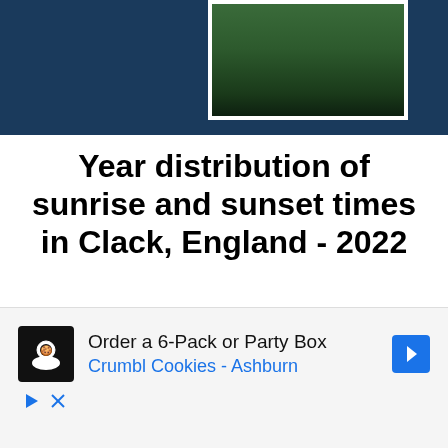[Figure (photo): Dark blue banner background with a white-framed photograph of a grassy field or meadow, positioned in the upper right area.]
Year distribution of sunrise and sunset times in Clack, England - 2022
The following graph shows sunrise and sunset times in Clack for every day of the year. There are two jumps in the graph that represent the hour change for Daylight Saving Time (DST) in
[Figure (other): Advertisement banner: 'Order a 6-Pack or Party Box / Crumbl Cookies - Ashburn' with a cookie logo icon and navigation arrow icon, plus play and close controls.]